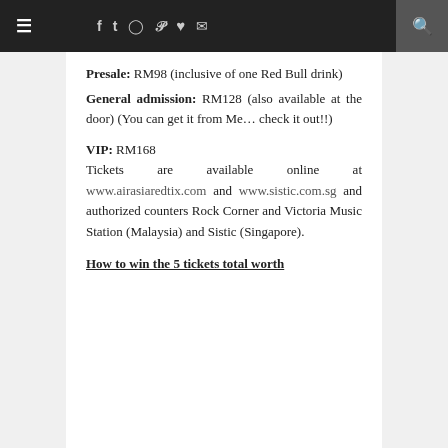☰  f  t  ✦  P  ♥  ✉  🔍
Presale: RM98 (inclusive of one Red Bull drink)
General admission: RM128 (also available at the door) (You can get it from Me… check it out!!)
VIP: RM168
Tickets are available online at www.airasiaredtix.com and www.sistic.com.sg and authorized counters Rock Corner and Victoria Music Station (Malaysia) and Sistic (Singapore).
How to win the 5 tickets total worth